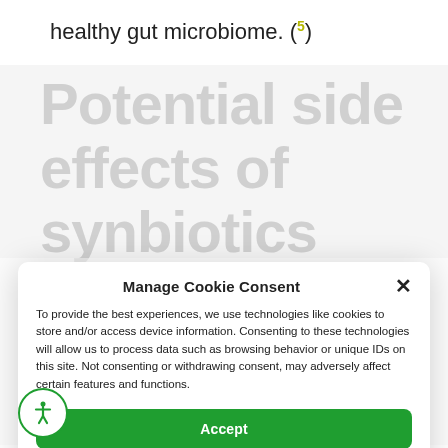healthy gut microbiome. (5)
Potential side effects of synbiotics
Manage Cookie Consent
To provide the best experiences, we use technologies like cookies to store and/or access device information. Consenting to these technologies will allow us to process data such as browsing behavior or unique IDs on this site. Not consenting or withdrawing consent, may adversely affect certain features and functions.
Accept
Cookie Policy